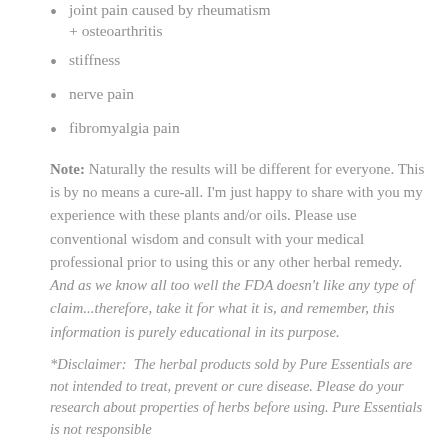joint pain caused by rheumatism + osteoarthritis
stiffness
nerve pain
fibromyalgia pain
Note: Naturally the results will be different for everyone. This is by no means a cure-all. I'm just happy to share with you my experience with these plants and/or oils. Please use conventional wisdom and consult with your medical professional prior to using this or any other herbal remedy. And as we know all too well the FDA doesn't like any type of claim...therefore, take it for what it is, and remember, this information is purely educational in its purpose.
*Disclaimer:  The herbal products sold by Pure Essentials are not intended to treat, prevent or cure disease. Please do your research about properties of herbs before using. Pure Essentials is not responsible